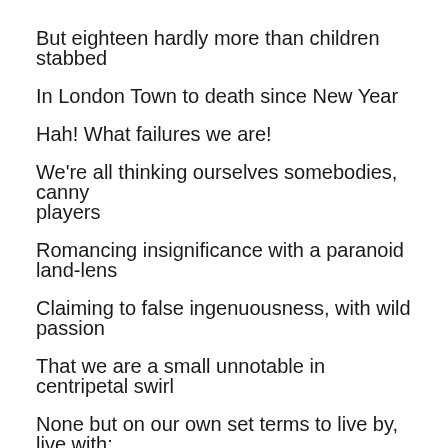But eighteen hardly more than children stabbed
In London Town to death since New Year
Hah! What failures we are!
We're all thinking ourselves somebodies, canny players
Romancing insignificance with a paranoid land-lens
Claiming to false ingenuousness, with wild passion
That we are a small unnotable in centripetal swirl
None but on our own set terms to live by, live with;
Heroic stuff, and brave - Bravo!......... O tempes, mores!
Happy to dance and chance the night of life away
Showing off to a non-existent fancied audience